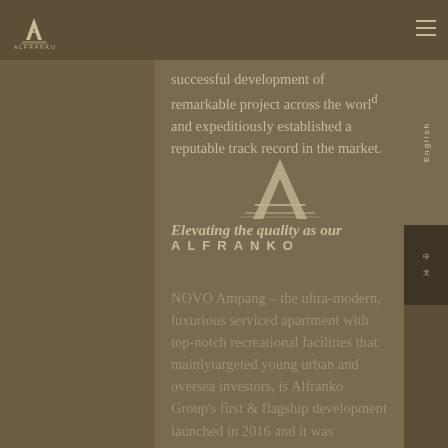[Figure (logo): Alfranko logo with stylized A and company name in navigation bar]
[Figure (logo): Large decorative A letter logo overlapping content area]
successful development of remarkable project across the world and expeditiously established a reputable track record in the market.
Elevating the quality as our
[Figure (logo): ALFRANKO wordmark logo]
NOVO Ampang – the ultra-modern, luxurious serviced apartment with top-notch recreational facilities that mainlytargeted young urban and oversea investors, is Alfranko Group's first & flagship development launched in 2016 and it was designed to be a landmark in